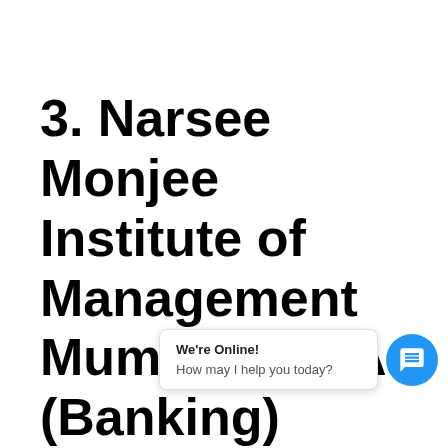3. Narsee Monjee Institute of Management Mumbai: MBA (Banking)